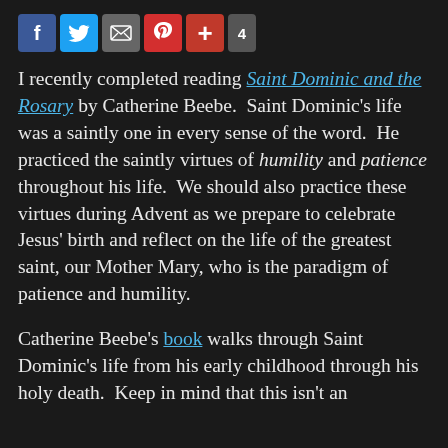[Figure (other): Social media sharing icons bar: Facebook (blue), Twitter (light blue), Email (gray), Pinterest (red), Google+ (red), and a share count badge showing 4]
I recently completed reading Saint Dominic and the Rosary by Catherine Beebe. Saint Dominic's life was a saintly one in every sense of the word. He practiced the saintly virtues of humility and patience throughout his life. We should also practice these virtues during Advent as we prepare to celebrate Jesus' birth and reflect on the life of the greatest saint, our Mother Mary, who is the paradigm of patience and humility.
Catherine Beebe's book walks through Saint Dominic's life from his early childhood through his holy death. Keep in mind that this isn't an